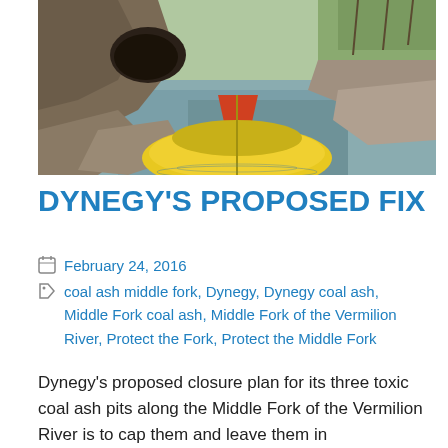[Figure (photo): A yellow kayak in the foreground on a calm river, with rocky cliffs and cave opening on the left, and trees with early spring foliage in the background.]
DYNEGY'S PROPOSED FIX
February 24, 2016
coal ash middle fork, Dynegy, Dynegy coal ash, Middle Fork coal ash, Middle Fork of the Vermilion River, Protect the Fork, Protect the Middle Fork
Dynegy's proposed closure plan for its three toxic coal ash pits along the Middle Fork of the Vermilion River is to cap them and leave them in